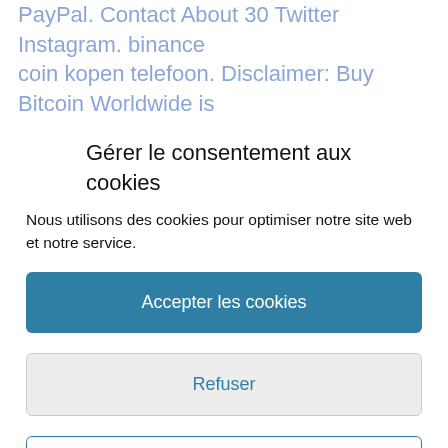PayPal. Contact About 30 Twitter Instagram. binance coin kopen telefoon. Disclaimer: Buy Bitcoin Worldwide is not offering, promoting, or encouraging the purchase, sale, or trade of any security or commodity. But this convenience comes at the cost of high transaction fees that reportedly average as high as 8. binance coin trader
Gérer le consentement aux cookies
Nous utilisons des cookies pour optimiser notre site web et notre service.
Accepter les cookies
Refuser
Voir les préférences